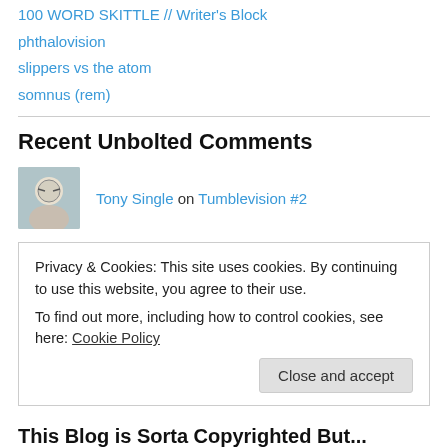100 WORD SKITTLE // Writer's Block
phthalovision
slippers vs the atom
somnus (rem)
Recent Unbolted Comments
Tony Single on Tumblevision #2
da-AL on Tumblevision #2
Tony Single on TATI's & TONY'…
Privacy & Cookies: This site uses cookies. By continuing to use this website, you agree to their use.
To find out more, including how to control cookies, see here: Cookie Policy
Close and accept
This Blog is Sorta Copyrighted But...